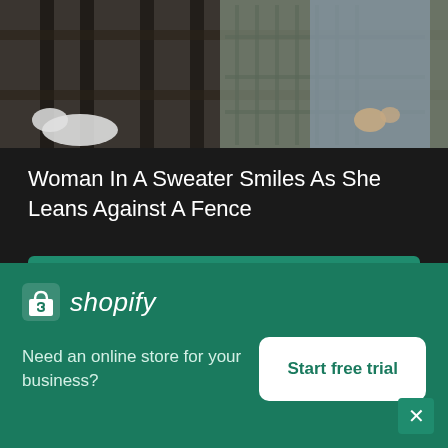[Figure (photo): Cropped photo of woman in a grey sweater leaning against a wooden fence, hands visible at mid-torso level, background shows fence with white animal and green foliage.]
Woman In A Sweater Smiles As She Leans Against A Fence
High resolution download ↓
[Figure (photo): Dramatic sunset or dusk sky with dark storm clouds and orange-red light along the horizon.]
[Figure (logo): Shopify logo — shopping bag icon with S and italic shopify wordmark in white on green background]
Need an online store for your business?
Start free trial